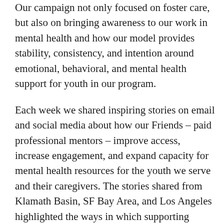Our campaign not only focused on foster care, but also on bringing awareness to our work in mental health and how our model provides stability, consistency, and intention around emotional, behavioral, and mental health support for youth in our program.
Each week we shared inspiring stories on email and social media about how our Friends – paid professional mentors – improve access, increase engagement, and expand capacity for mental health resources for the youth we serve and their caregivers. The stories shared from Klamath Basin, SF Bay Area, and Los Angeles highlighted the ways in which supporting children's mental health is at the heart of Friends of the Children's work every month, every week, and every day of the year.
To celebrate foster care and mental health, we also teamed up with youth advocate and Olympic gymnast